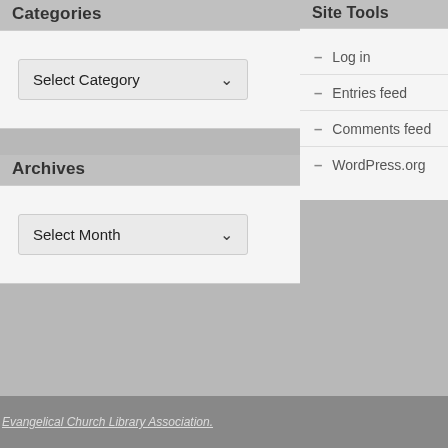Categories
Select Category
Archives
Select Month
Site Tools
Log in
Entries feed
Comments feed
WordPress.org
Evangelical Church Library Association.